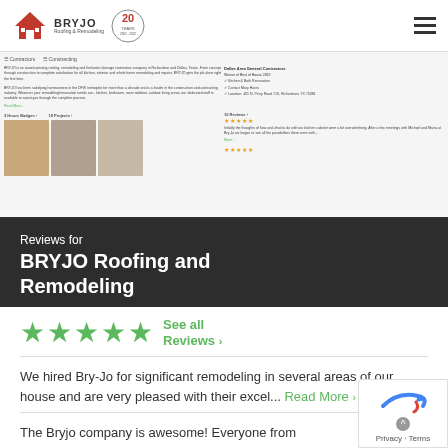[Figure (logo): BRYJO Roofing and Remodeling logo with house icon and 20 years badge]
[Figure (screenshot): Small screenshot of BRYJO Houzz profile page showing company description, badges, project photos, and reviews]
Reviews for
BRYJO Roofing and Remodeling
[Figure (other): Five green stars rating with See all Reviews link]
We hired Bry-Jo for significant remodeling in several areas of our house and are very pleased with their excel... Read More ›
The Bryjo company is awesome! Everyone from